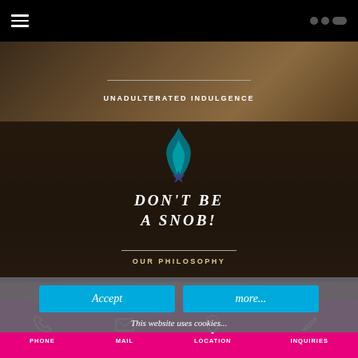[Figure (screenshot): Website screenshot showing a restaurant/bar homepage with dark overlay, navigation bar, cookie consent banner, and pink footer with contact icons]
≡  ○○○
UNADULTERATED INDULGENCE
DON'T BE A SNOB!
OUR PHILOSOPHY
FROM DUSK
Accept
more...
This website uses cookies...
PHONE  MAIL  LOCATION  INQUIRIES